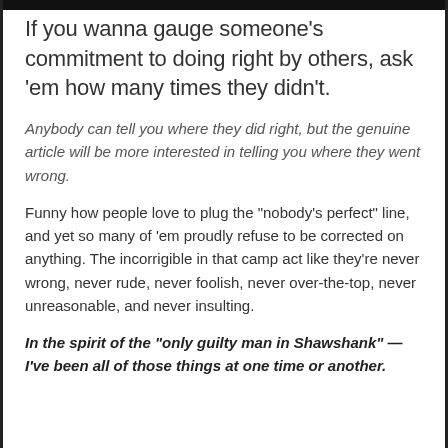If you wanna gauge someone's commitment to doing right by others, ask 'em how many times they didn't.
Anybody can tell you where they did right, but the genuine article will be more interested in telling you where they went wrong.
Funny how people love to plug the "nobody's perfect" line, and yet so many of 'em proudly refuse to be corrected on anything. The incorrigible in that camp act like they're never wrong, never rude, never foolish, never over-the-top, never unreasonable, and never insulting.
In the spirit of the "only guilty man in Shawshank" — I've been all of those things at one time or another.